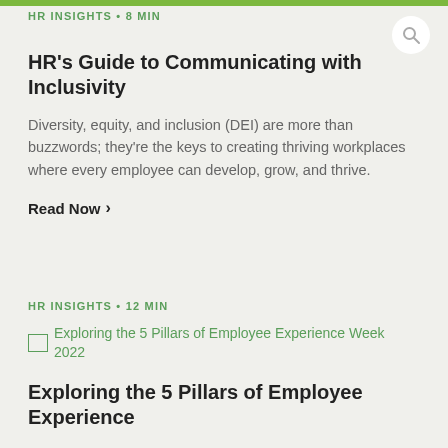HR INSIGHTS • 8 MIN
HR's Guide to Communicating with Inclusivity
Diversity, equity, and inclusion (DEI) are more than buzzwords; they're the keys to creating thriving workplaces where every employee can develop, grow, and thrive.
Read Now >
HR INSIGHTS • 12 MIN
[Figure (photo): Thumbnail image for article: Exploring the 5 Pillars of Employee Experience Week 2022]
Exploring the 5 Pillars of Employee Experience